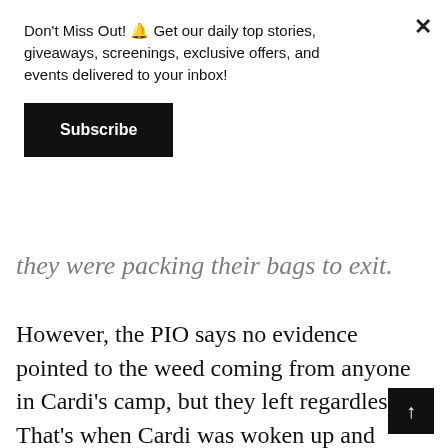Don't Miss Out! 🔔 Get our daily top stories, giveaways, screenings, exclusive offers, and events delivered to your inbox!
Subscribe
they were packing their bags to exit.
However, the PIO says no evidence pointed to the weed coming from anyone in Cardi's camp, but they left regardless. That's when Cardi was woken up and asked to join them, causing her outburst in the lobby. We're told no one was arrested, and that Albany PD denies allegations of racism.